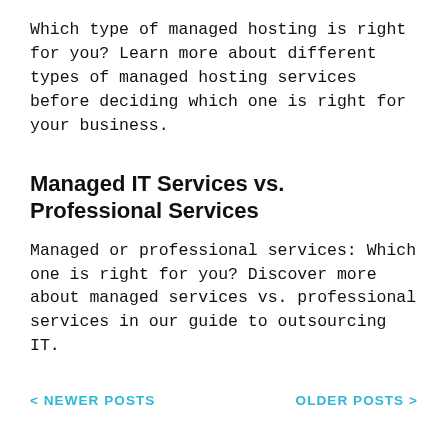Which type of managed hosting is right for you? Learn more about different types of managed hosting services before deciding which one is right for your business.
Managed IT Services vs. Professional Services
Managed or professional services: Which one is right for you? Discover more about managed services vs. professional services in our guide to outsourcing IT.
< NEWER POSTS    OLDER POSTS >